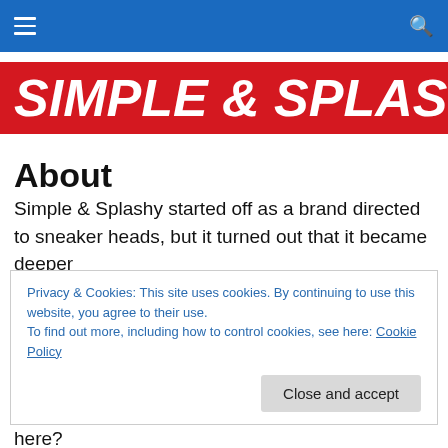Navigation bar with hamburger menu and search icon
SIMPLE & SPLASHY
About
Simple & Splashy started off as a brand directed to sneaker heads, but it turned out that it became deeper
Privacy & Cookies: This site uses cookies. By continuing to use this website, you agree to their use.
To find out more, including how to control cookies, see here: Cookie Policy
Close and accept
here?